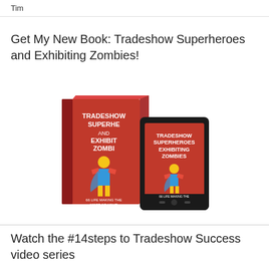Tim
Get My New Book: Tradeshow Superheroes and Exhibiting Zombies!
[Figure (illustration): Book cover and tablet/e-reader showing 'Tradeshow Superheroes and Exhibiting Zombies' book with red cover featuring a superhero character]
Watch the #14steps to Tradeshow Success video series